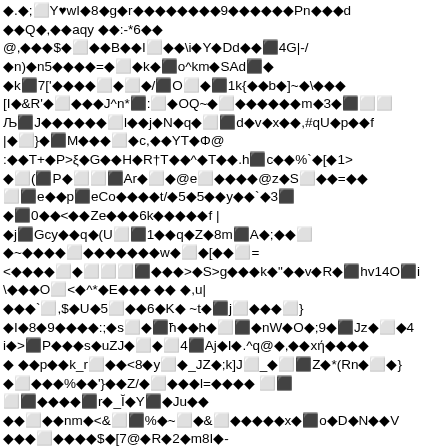◆.◆;⬜Y♥wI◆8◆g◆r◆◆◆◆◆◆◆◆9◆◆◆◆◆◆Pn◆◆◆d◆◆Q◆,◆◆aqy ◆◆:-*6◆◆
@,◆◆◆$◆⬜◆◆B◆◆I⬜◆◆\i◆Y◆Dd◆◆⬛4G|-/
◆n)◆n5◆◆◆◆=◆⬜◆k◆⬛o^km◆SAd⬛◆
◆k⬛7['◆◆◆◆⬜◆⬜◆/⬛O⬜◆⬛1k{◆◆b◆]~◆\◆◆◆
[I◆&R'◆⬜◆◆◆J^n*⬛:⬜◆OQ~◆⬜◆◆◆◆◆◆m◆3◆⬛⬜⬜
Љ⬛J◆◆◆◆◆◆⬜l◆◆j◆N◆q◆⬜⬛d◆v◆x◆◆,#qU◆p◆◆f
|◆⬜}◆⬛M◆◆◆⬜◆c,◆◆YT◆Φ@
:◆◆T+◆P>ξ◆G◆◆H◆R†T◆◆^◆T◆◆.h⬛c◆◆%`◆[◆1>
◆⬜(⬛P◆⬜⬜⬛Ar◆⬜◆@e⬜◆◆◆◆@z◆S⬜◆◆=◆◆
⬜⬛e◆◆p⬛eCo◆◆◆◆t/◆5◆5◆◆y◆◆`◆3⬛
◆⬛0◆◆<◆◆Ze◆◆◆6k◆◆◆◆◆f |
◆j⬛Gcy◆◆q◆(U⬜⬛1◆◆q◆Z◆8m⬛A◆;◆◆⬜
◆~◆◆◆◆⬜◆◆◆◆◆◆◆w◆⬜◆[◆◆⬜=
<◆◆◆◆⬜◆⬜⬜⬜⬛◆◆◆>◆S>g◆◆◆k◆"◆◆v◆R◆⬛hv14O⬛i
\◆◆◆O⬜<◆^*◆E◆◆◆ ◆◆ ◆,u|
◆◆◆`⬜,$◆U◆5⬜◆◆6◆K◆ ~t◆⬛j⬜◆◆◆⬜}
◆I◆8◆9◆◆◆◆:;◆s⬜◆⬛ħ◆◆h◆⬜⬛◆nW◆O◆;9◆⬛Jz◆⬜◆4
i◆>⬛P◆◆◆s◆uZJ◆⬜◆⬜4⬛Aj◆I◆.^q@◆,◆◆xή◆◆◆◆
◆ ◆◆p◆◆k_r⬜◆◆<8◆y⬜◆_JZ◆;k]J⬜_◆⬜⬛Z◆*(Rn◆⬜◆}
◆⬜◆◆◆%◆◆'}◆◆Z/◆⬜◆◆◆l=◆◆◆◆ ⬜⬛
⬜⬛◆◆◆◆⬛r◆_Ĭ◆Y⬛◆Ju◆◆
◆◆⬜◆◆nm◆<&⬜⬛%◆~⬜◆&⬜◆◆◆◆◆x◆⬛o◆D◆N◆◆V
◆◆◆⬜◆◆◆◆$◆[7@◆R◆2◆m8I◆-